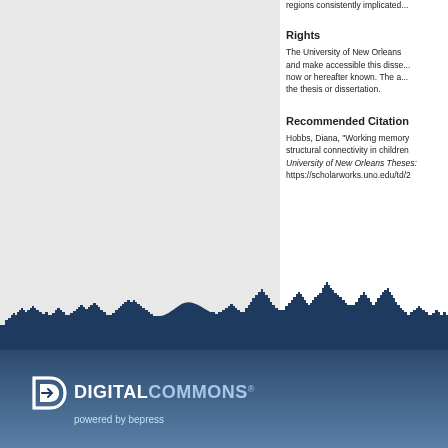regions consistently implicated...
Rights
The University of New Orleans and make accessible this disse... now or hereafter known. The a... the thesis or dissertation.
Recommended Citation
Hobbs, Diana, "Working memory structural connectivity in children University of New Orleans Theses: https://scholarworks.uno.edu/td/2
[Figure (illustration): New Orleans city skyline silhouette in dark navy blue]
[Figure (logo): Digital Commons powered by bepress logo on blue gradient footer band]